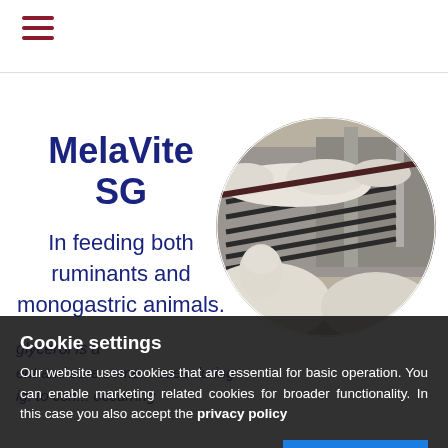☰
MelaVite SG
In feeding both ruminants and monogastric animals,
[Figure (photo): Circular photo of sheep feeding at metal bar feeding rack in a farm building]
glycerol is a...
ent and cure some... sues during
ig. to con... occurring
Cookie settings
Our website uses cookies that are essential for basic operation. You can enable marketing related cookies for broader functionality. In this case you also accept the privacy policy
I don't agree
I AGREE